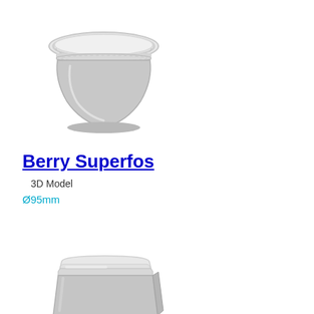[Figure (illustration): 3D render of a round plastic container/bowl with lid viewed from slightly above, gray/white coloring]
Berry Superfos
3D Model
Ø95mm
[Figure (illustration): 3D render of a square/rectangular plastic container with lid, gray/white coloring, viewed from slightly above]